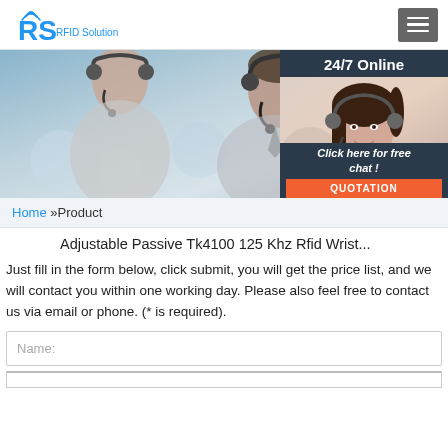[Figure (logo): RS RFID Solution logo with WiFi icon above R, blue text]
[Figure (photo): Customer service representatives wearing headsets in an office setting, with a 24/7 Online chat popup overlay on the right showing a smiling female agent with headset, a 'Click here for free chat!' message and an orange QUOTATION button]
Home »Product
Adjustable Passive Tk4100 125 Khz Rfid Wrist...
Just fill in the form below, click submit, you will get the price list, and we will contact you within one working day. Please also feel free to contact us via email or phone. (* is required).